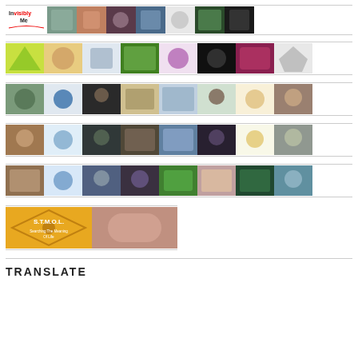[Figure (photo): Row of blog avatar images including 'Invisibly Me' logo and multiple portrait/character photos]
[Figure (photo): Row of blog avatar images including cartoon characters and portrait photos]
[Figure (photo): Row of blog avatar images including portrait photos and cartoon characters]
[Figure (photo): Row of blog avatar images including portrait photos and cartoon characters]
[Figure (photo): Row of blog avatar images including photos and cartoon robot]
[Figure (photo): Partial row with S.T.M.O.L. logo and one image]
TRANSLATE